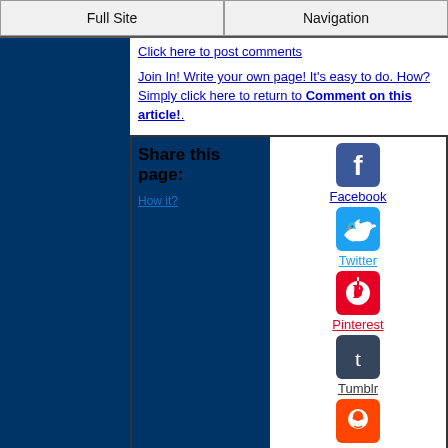Full Site | Navigation
Click here to post comments
Join In! Write your own page! It's easy to do. How? Simply click here to return to Comment on this article!.
Share this page:
How it?
[Figure (logo): Facebook icon]
Facebook
[Figure (logo): Twitter icon]
Twitter
[Figure (logo): Pinterest icon]
Pinterest
[Figure (logo): Tumblr icon]
Tumblr
[Figure (logo): Reddit icon]
Reddit
[Figure (logo): WhatsApp icon]